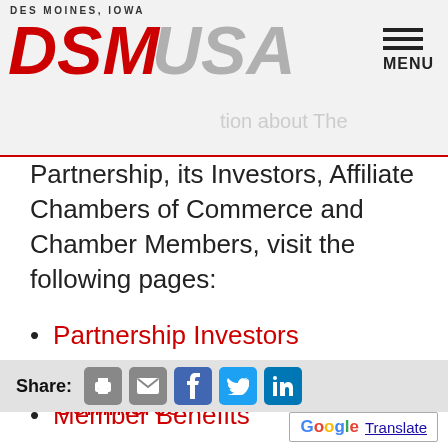DSM USA - Des Moines, Iowa
Partnership, its Investors, Affiliate Chambers of Commerce and Chamber Members, visit the following pages:
Partnership Investors
Affiliate Chambers of Commerce
Member Benefits
Calendars
Share: [print] [email] [facebook] [twitter] [linkedin] | Google Translate